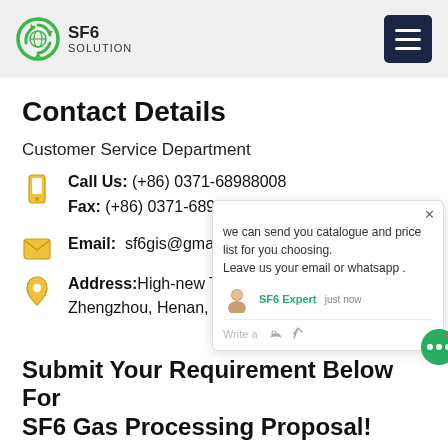SF6 SOLUTION
Contact Details
Customer Service Department
Call Us: (+86) 0371-68988008
Fax: (+86) 0371-68980201
Email: sf6gis@gmail.com
Address: High-new Tech Zone Zhengzhou, Henan, China
[Figure (screenshot): Chat popup overlay with message: we can send you catalogue and price list for you choosing. Leave us your email or whatsapp. SF6 Expert just now. Write a message input area with like and attachment icons.]
Submit Your Requirement Below For SF6 Gas Processing Proposal!